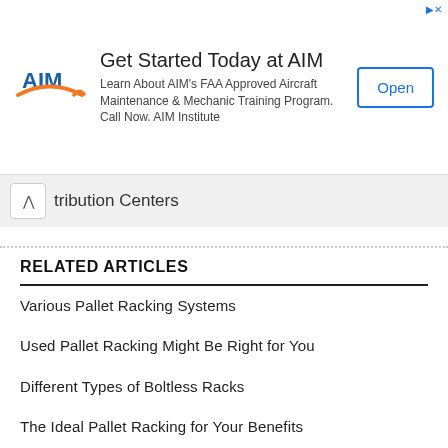[Figure (other): AIM Institute advertisement banner with logo, title 'Get Started Today at AIM', body text about FAA Approved Aircraft Maintenance & Mechanic Training Program, and an Open button]
tribution Centers
RELATED ARTICLES
Various Pallet Racking Systems
Used Pallet Racking Might Be Right for You
Different Types of Boltless Racks
The Ideal Pallet Racking for Your Benefits
Looking for Used Pallet Racks
Looking at the Pallet Racking Safety Netting
Top Benefits of Buying Pallet Rack Systems in Warehouses